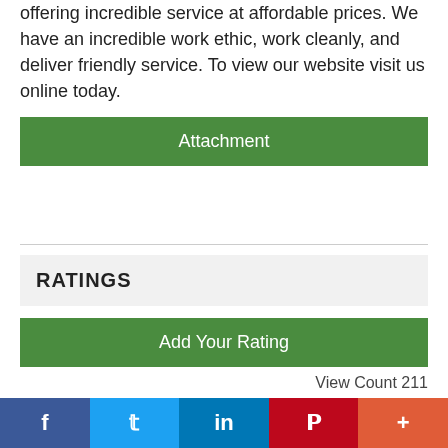offering incredible service at affordable prices. We have an incredible work ethic, work cleanly, and deliver friendly service. To view our website visit us online today.
Attachment
RATINGS
Add Your Rating
View Count 211
BROWSE DIRECTORY